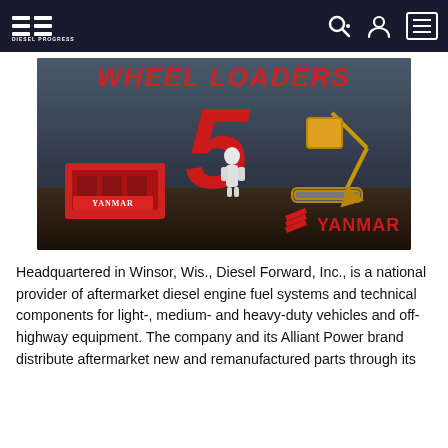Diesel Progress navigation bar with logo and icons
[Figure (illustration): Yanmar advertisement featuring wheel loaders with a large red number 5, a Yanmar engine in the foreground, excavator to the right, and 'WHEEL LOADERS' text in red at the top, Yanmar logo at the bottom right.]
Headquartered in Winsor, Wis., Diesel Forward, Inc., is a national provider of aftermarket diesel engine fuel systems and technical components for light-, medium- and heavy-duty vehicles and off-highway equipment. The company and its Alliant Power brand distribute aftermarket new and remanufactured parts through its